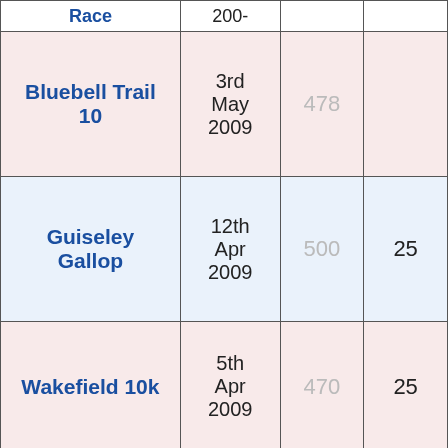| Race | Date | Finishers | Points |
| --- | --- | --- | --- |
| Race (partial) | 200- |  |  |
| Bluebell Trail 10 | 3rd May 2009 | 478 |  |
| Guiseley Gallop | 12th Apr 2009 | 500 | 25 |
| Wakefield 10k | 5th Apr 2009 | 470 | 25 |
| West Yorkshire X Country at Baildon | 8th Feb 2009 | 477 | 0 |
| West Yorkshire X Country at Pudsey | 25th Jan 2009 | 541 | 0 |
| Dewsbury | ... |  |  |